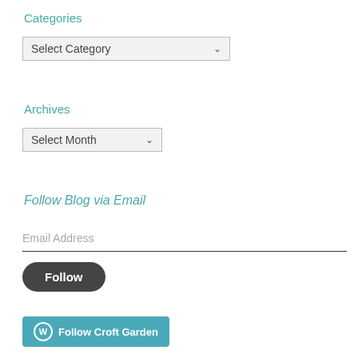Categories
[Figure (screenshot): A dropdown selector showing 'Select Category' with a chevron arrow]
Archives
[Figure (screenshot): A dropdown selector showing 'Select Month' with a chevron arrow]
Follow Blog via Email
Email Address
Follow
Follow Croft Garden